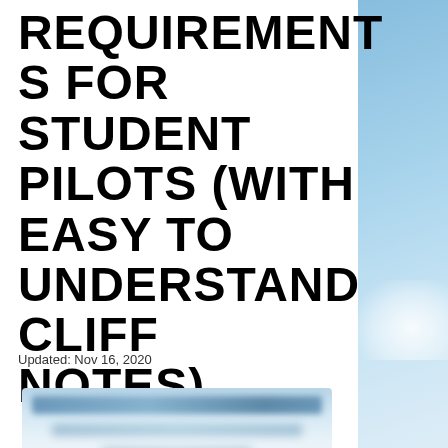REQUIREMENTS FOR STUDENT PILOTS (WITH EASY TO UNDERSTAND CLIFF NOTES)
Updated: Nov 16, 2020
[Figure (screenshot): Blurred preview image of document content, showing indistinct blue-toned bars and text blocks]